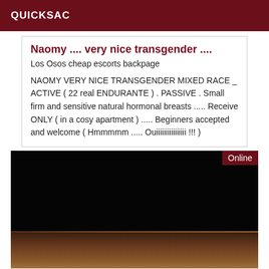QUICKSAC
Naomy .... very nice transgender ....
Los Osos cheap escorts backpage
NAOMY VERY NICE TRANSGENDER MIXED RACE _ ACTIVE ( 22 real ENDURANTE ) . PASSIVE . Small firm and sensitive natural hormonal breasts ..... Receive ONLY ( in a cosy apartment ) ..... Beginners accepted and welcome ( Hmmmmm ..... Ouiiiiiiiiiiiiiiii !!! )
[Figure (photo): Dark photo with person partially visible at the bottom, with Online badge in top right corner]